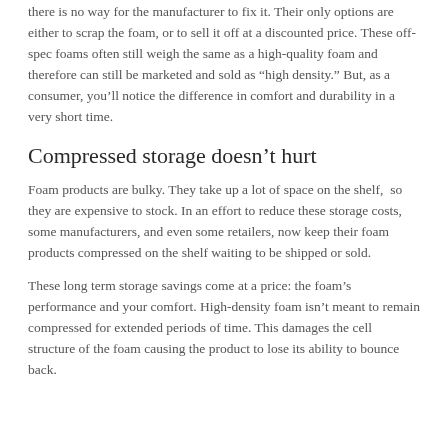there is no way for the manufacturer to fix it. Their only options are either to scrap the foam, or to sell it off at a discounted price. These off-spec foams often still weigh the same as a high-quality foam and therefore can still be marketed and sold as “high density.” But, as a consumer, you’ll notice the difference in comfort and durability in a very short time.
Compressed storage doesn’t hurt
Foam products are bulky. They take up a lot of space on the shelf, so they are expensive to stock. In an effort to reduce these storage costs, some manufacturers, and even some retailers, now keep their foam products compressed on the shelf waiting to be shipped or sold.
These long term storage savings come at a price: the foam’s performance and your comfort. High-density foam isn’t meant to remain compressed for extended periods of time. This damages the cell structure of the foam causing the product to lose its ability to bounce back.